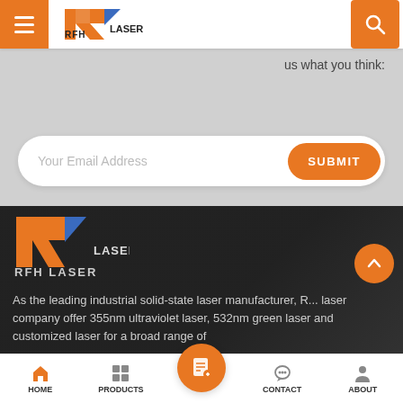[Figure (logo): RFH LASER logo in header - orange arrow/R shape with blue triangle]
us what you think:
Your Email Address
SUBMIT
[Figure (logo): RFH LASER logo large in dark footer section]
As the leading industrial solid-state laser manufacturer, R... laser company offer 355nm ultraviolet laser, 532nm green laser and customized laser for a broad range of
HOME  PRODUCTS  CONTACT  ABOUT